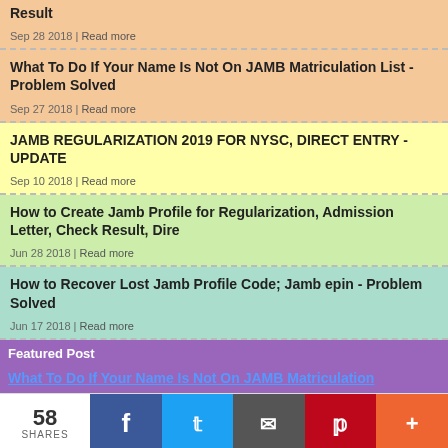Result
Sep 28 2018 | Read more
What To Do If Your Name Is Not On JAMB Matriculation List - Problem Solved
Sep 27 2018 | Read more
JAMB REGULARIZATION 2019 FOR NYSC, DIRECT ENTRY - UPDATE
Sep 10 2018 | Read more
How to Create Jamb Profile for Regularization, Admission Letter, Check Result, Dire...
Jun 28 2018 | Read more
How to Recover Lost Jamb Profile Code; Jamb epin - Problem Solved
Jun 17 2018 | Read more
Featured Post
What To Do If Your Name Is Not On JAMB Matriculation
58 SHARES